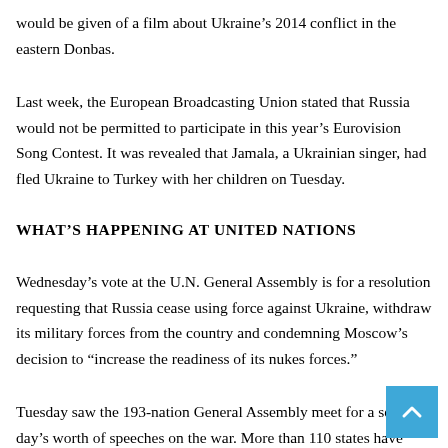would be given of a film about Ukraine’s 2014 conflict in the eastern Donbas.
Last week, the European Broadcasting Union stated that Russia would not be permitted to participate in this year’s Eurovision Song Contest. It was revealed that Jamala, a Ukrainian singer, had fled Ukraine to Turkey with her children on Tuesday.
WHAT’S HAPPENING AT UNITED NATIONS
Wednesday’s vote at the U.N. General Assembly is for a resolution requesting that Russia cease using force against Ukraine, withdraw its military forces from the country and condemning Moscow’s decision to “increase the readiness of its nukes forces.”
Tuesday saw the 193-nation General Assembly meet for a second day’s worth of speeches on the war. More than 110 states have signed up to